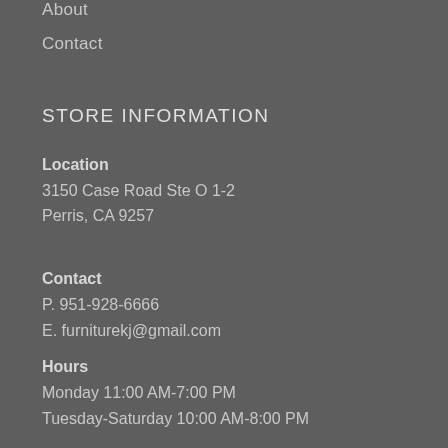About
Contact
STORE INFORMATION
Location
3150 Case Road Ste O 1-2
Perris, CA 9257
Contact
P. 951-928-6666
E. furniturekj@gmail.com
Hours
Monday 11:00 AM-7:00 PM
Tuesday-Saturday 10:00 AM-8:00 PM